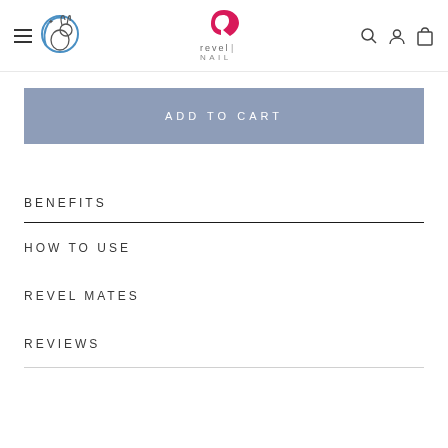Revel Nail website header with hamburger menu, leaping bunny logo, Revel Nail logo, search, account, and cart icons
ADD TO CART
BENEFITS
HOW TO USE
REVEL MATES
REVIEWS